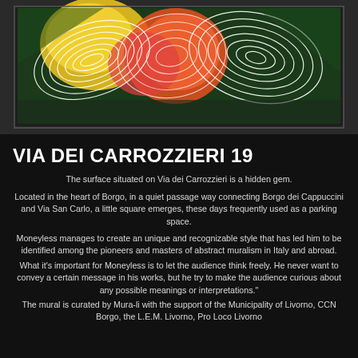[Figure (photo): Photograph of a colorful abstract mural artwork with geometric patterns including yellow, orange, red/coral and white spiral/lattice forms on a dark green background, displayed in what appears to be a framed or mounted format]
VIA DEI CARROZZIERI 19
The surface situated on Via dei Carrozzieri is a hidden gem.
Located in the heart of Borgo, in a quiet passage way connecting Borgo dei Cappuccini and Via San Carlo, a little square emerges, these days frequently used as a parking space.
Moneyless manages to create an unique and recognizable style that has led him to be identified among the pioneers and masters of abstract muralism in Italy and abroad.
What it's important for Moneyless is to let the audience think freely. He never want to convey a certain message in his works, but he try to make the audience curious about any possible meanings or interpretations."
The mural is curated by Mura-li with the support of the Municipality of Livorno, CCN Borgo, the L.E.M. Livorno, Pro Loco Livorno